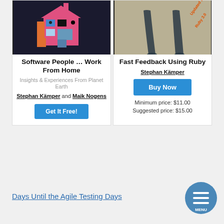[Figure (illustration): Book cover for 'Software People Work From Home': colorful illustrated house with people icons on dark background]
Software People … Work From Home
Insights & Experiences From Planet Earth
Stephan Kämper and Maik Nogens
Get It Free!
[Figure (photo): Book cover for 'Fast Feedback Using Ruby': two shadows on concrete ground with orange diagonal text 'Updated to Ruby 3.0']
Fast Feedback Using Ruby
Stephan Kämper
Buy Now
Minimum price: $11.00
Suggested price: $15.00
Days Until the Agile Testing Days